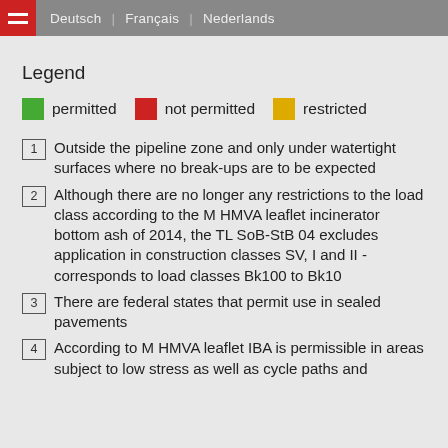Deutsch | Français | Nederlands
Legend
permitted   not permitted   restricted
1 Outside the pipeline zone and only under watertight surfaces where no break-ups are to be expected
2 Although there are no longer any restrictions to the load class according to the M HMVA leaflet incinerator bottom ash of 2014, the TL SoB-StB 04 excludes application in construction classes SV, I and II - corresponds to load classes Bk100 to Bk10
3 There are federal states that permit use in sealed pavements
4 According to M HMVA leaflet IBA is permissible in areas subject to low stress as well as cycle paths and